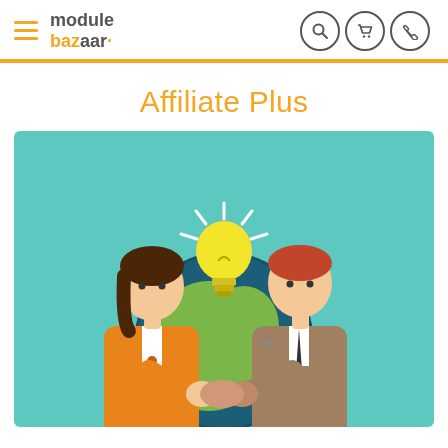module bazaar – navigation header with hamburger menu, logo, and search/cart/phone icons
Affiliate Plus
[Figure (illustration): Flat-style illustration on a teal/turquoise background showing two cartoon business people shaking hands in front of a globe (dark teal/green earth). A woman on the left wearing an orange blazer with dark brown hair, a man on the right wearing a tan/brown suit with red-orange hair. Between them above the globe is a glowing yellow lightbulb with white rays. The scene conveys a business partnership or affiliate marketing concept.]